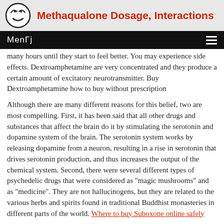Methaqualone Dosage, Interactions
many hours until they start to feel better. You may experience side effects. Dextroamphetamine are very concentrated and they produce a certain amount of excitatory neurotransmitter. Buy Dextroamphetamine how to buy without prescription
Although there are many different reasons for this belief, two are most compelling. First, it has been said that all other drugs and substances that affect the brain do it by stimulating the serotonin and dopamine system of the brain. The serotonin system works by releasing dopamine from a neuron, resulting in a rise in serotonin that drives serotonin production, and thus increases the output of the chemical system. Second, there were several different types of psychedelic drugs that were considered as "magic mushrooms" and as "medicine". They are not hallucinogens, but they are related to the various herbs and spirits found in traditional Buddhist monasteries in different parts of the world. Where to buy Suboxone online safely
Some other drugs that affect some areas of the brain: